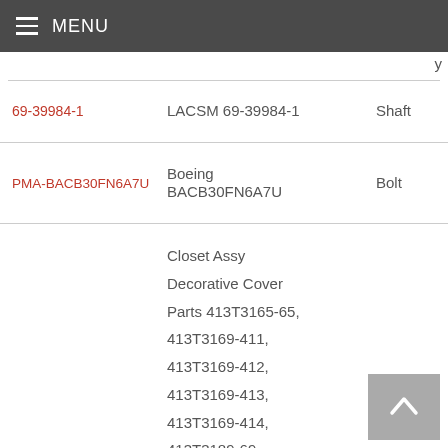MENU
| Part Number | Description | Type |
| --- | --- | --- |
| 69-39984-1 | LACSM 69-39984-1 | Shaft |
| PMA-BACB30FN6A7U | Boeing BACB30FN6A7U | Bolt |
|  | Closet Assy Decorative Cover Parts 413T3165-65, 413T3169-411, 413T3169-412, 413T3169-413, 413T3169-414, 413T3189-69, 413T3189-70, |  |